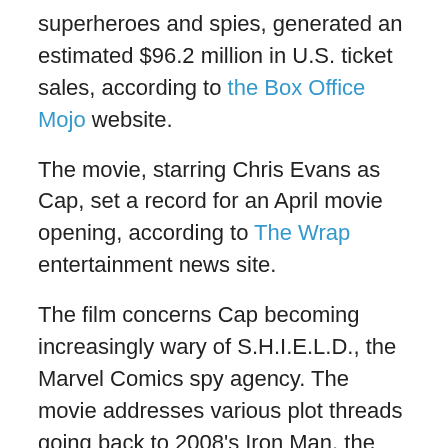superheroes and spies, generated an estimated $96.2 million in U.S. ticket sales, according to the Box Office Mojo website.
The movie, starring Chris Evans as Cap, set a record for an April movie opening, according to The Wrap entertainment news site.
The film concerns Cap becoming increasingly wary of S.H.I.E.L.D., the Marvel Comics spy agency. The movie addresses various plot threads going back to 2008's Iron Man, the first production from Marvel Studios. One of two epilogues in the end titles provides a teaser for next year's sequel to 2012's Marvel's The Avengers. A third Captain America movie has been scheduled for May 2016.
Meanwhile, the storyline of Captain America: The Winter